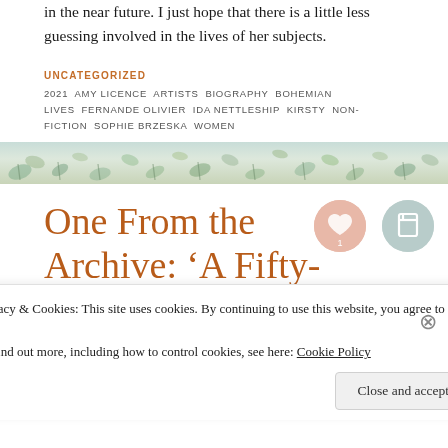in the near future. I just hope that there is a little less guessing involved in the lives of her subjects.
UNCATEGORIZED
2021  AMY LICENCE  ARTISTS  BIOGRAPHY  BOHEMIAN LIVES  FERNANDE OLIVIER  IDA NETTLESHIP  KIRSTY  NON-FICTION  SOPHIE BRZESKA  WOMEN
[Figure (illustration): Decorative botanical banner with plants and foliage pattern in muted teal, cream and green tones]
One From the Archive: ‘A Fifty-Year
[Figure (other): Like button circle with heart icon and number 1]
[Figure (other): Bookmark button circle with document icon]
Privacy & Cookies: This site uses cookies. By continuing to use this website, you agree to their use.
To find out more, including how to control cookies, see here: Cookie Policy
Close and accept